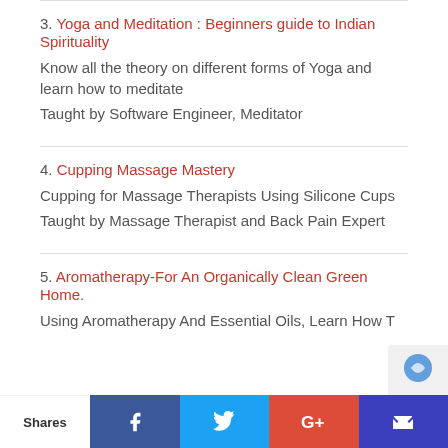3. Yoga and Meditation : Beginners guide to Indian Spirituality
Know all the theory on different forms of Yoga and learn how to meditate
Taught by Software Engineer, Meditator
4. Cupping Massage Mastery
Cupping for Massage Therapists Using Silicone Cups
Taught by Massage Therapist and Back Pain Expert
5. Aromatherapy-For An Organically Clean Green Home.
Using Aromatherapy And Essential Oils, Learn How T